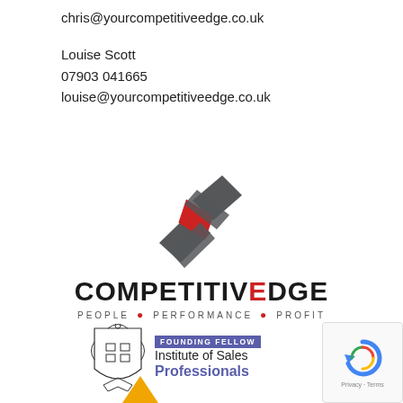chris@yourcompetitiveedge.co.uk
Louise Scott
07903 041665
louise@yourcompetitiveedge.co.uk
[Figure (logo): Competitive Edge logo with diamond/chevron shapes in grey and red above the text COMPETITIVEDGE in bold black with red E, and tagline PEOPLE • PERFORMANCE • PROFIT]
[Figure (logo): Institute of Sales Professionals Founding Fellow badge with crest and purple text]
[Figure (logo): reCAPTCHA widget with circular arrow logo and Privacy - Terms text]